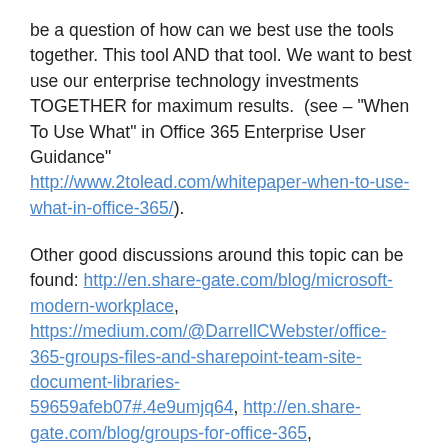be a question of how can we best use the tools together. This tool AND that tool. We want to best use our enterprise technology investments TOGETHER for maximum results.  (see – "When To Use What" in Office 365 Enterprise User Guidance" http://www.2tolead.com/whitepaper-when-to-use-what-in-office-365/).
Other good discussions around this topic can be found: http://en.share-gate.com/blog/microsoft-modern-workplace, https://medium.com/@DarrellCWebster/office-365-groups-files-and-sharepoint-team-site-document-libraries-59659afeb07#.4e9umjq64, http://en.share-gate.com/blog/groups-for-office-365, http://www.cmswire.com/social-business/what-are...